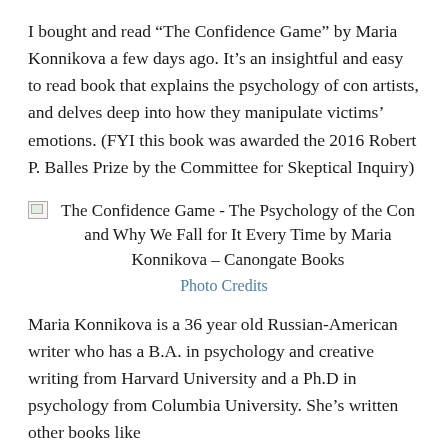I bought and read “The Confidence Game” by Maria Konnikova a few days ago. It’s an insightful and easy to read book that explains the psychology of con artists, and delves deep into how they manipulate victims’ emotions. (FYI this book was awarded the 2016 Robert P. Balles Prize by the Committee for Skeptical Inquiry)
[Figure (illustration): Broken image placeholder icon followed by caption text: The Confidence Game - The Psychology of the Con and Why We Fall for It Every Time by Maria Konnikova – Canongate Books]
Photo Credits
Maria Konnikova is a 36 year old Russian-American writer who has a B.A. in psychology and creative writing from Harvard University and a Ph.D in psychology from Columbia University. She’s written other books like